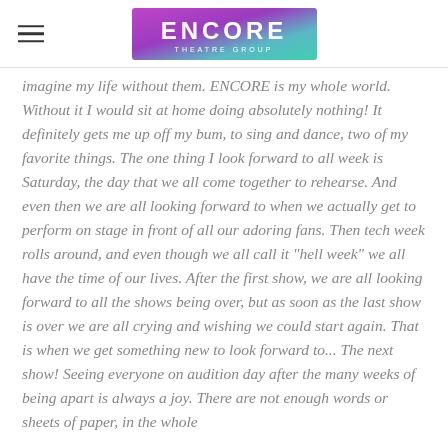[Figure (logo): Encore Theatre Group logo — gradient rectangle from purple/magenta to teal/green with white text 'ENCORE' large and 'THEATRE GROUP' small below]
imagine my life without them. ENCORE is my whole world. Without it I would sit at home doing absolutely nothing! It definitely gets me up off my bum, to sing and dance, two of my favorite things. The one thing I look forward to all week is Saturday, the day that we all come together to rehearse. And even then we are all looking forward to when we actually get to perform on stage in front of all our adoring fans. Then tech week rolls around, and even though we all call it "hell week" we all have the time of our lives. After the first show, we are all looking forward to all the shows being over, but as soon as the last show is over we are all crying and wishing we could start again. That is when we get something new to look forward to... The next show! Seeing everyone on audition day after the many weeks of being apart is always a joy. There are not enough words or sheets of paper, in the whole world to tell you how much ENCORE means to us.